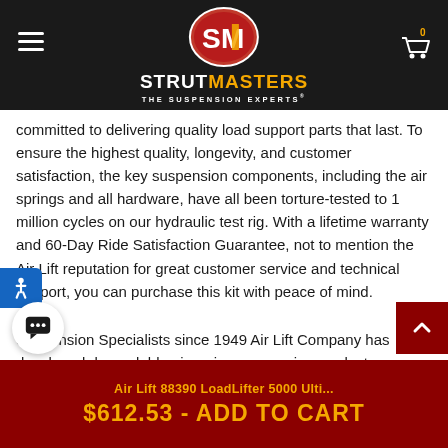[Figure (logo): StrutMasters logo with SM oval emblem in red, brand name STRUTMASTERS in white and yellow, tagline THE SUSPENSION EXPERTS]
committed to delivering quality load support parts that last. To ensure the highest quality, longevity, and customer satisfaction, the key suspension components, including the air springs and all hardware, have all been torture-tested to 1 million cycles on our hydraulic test rig. With a lifetime warranty and 60-Day Ride Satisfaction Guarantee, not to mention the Air Lift reputation for great customer service and technical support, you can purchase this kit with peace of mind.

Suspension Specialists since 1949 Air Lift Company has developed dependable air spring suspension products
Air Lift 88390 LoadLifter 5000 Ulti...
$612.53 - ADD TO CART